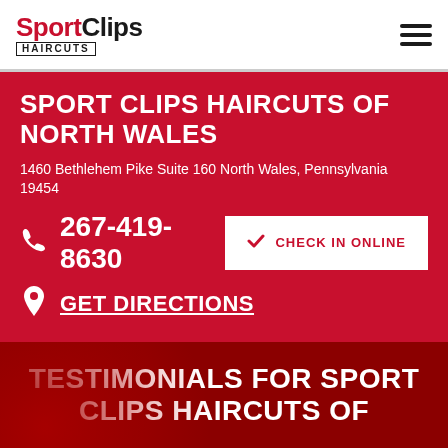Sport Clips Haircuts
SPORT CLIPS HAIRCUTS OF NORTH WALES
1460 Bethlehem Pike Suite 160 North Wales, Pennsylvania 19454
267-419-8630
CHECK IN ONLINE
GET DIRECTIONS
TESTIMONIALS FOR SPORT CLIPS HAIRCUTS OF